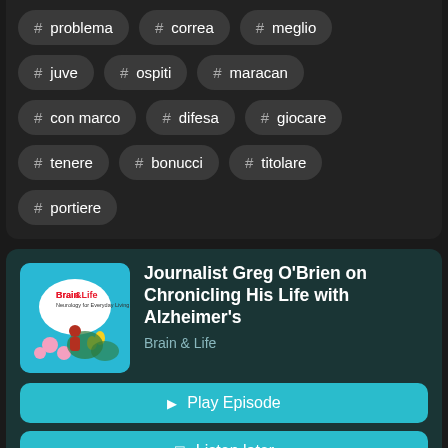# problema
# correa
# meglio
# juve
# ospiti
# maracan
# con marco
# difesa
# giocare
# tenere
# bonucci
# titolare
# portiere
Journalist Greg O'Brien on Chronicling His Life with Alzheimer's
Brain & Life
Play Episode
Listen later